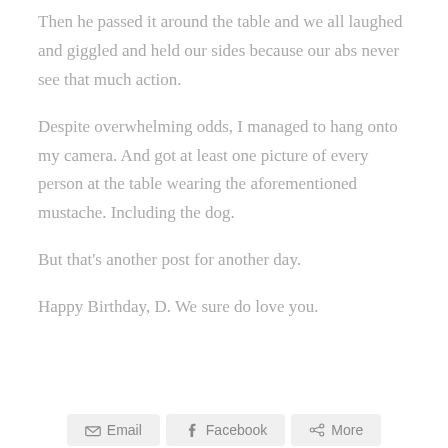Then he passed it around the table and we all laughed and giggled and held our sides because our abs never see that much action.
Despite overwhelming odds, I managed to hang onto my camera. And got at least one picture of every person at the table wearing the aforementioned mustache. Including the dog.
But that's another post for another day.
Happy Birthday, D. We sure do love you.
Email  Facebook  More